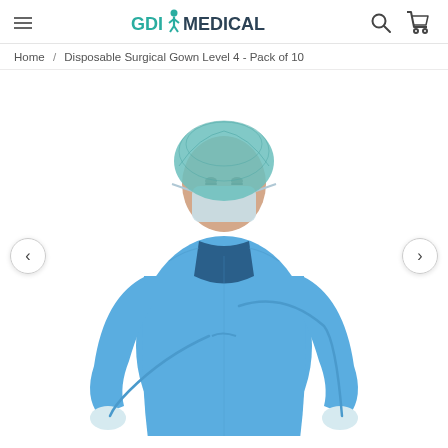GDI MEDICAL — navigation header with hamburger menu, logo, search and cart icons
Home / Disposable Surgical Gown Level 4 - Pack of 10
[Figure (photo): Person wearing a blue disposable surgical gown (Level 4), blue hair net, white face mask, and white gloves, tying the gown strings. White background.]